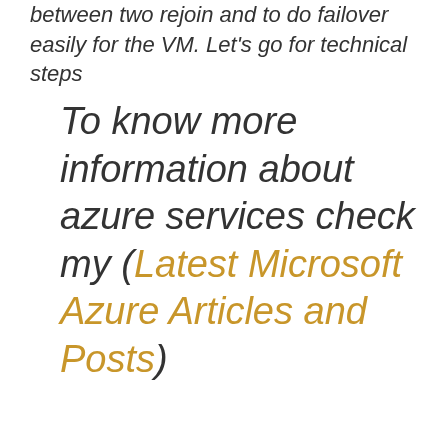between two rejoin and to do failover easily for the VM. Let's go for technical steps
To know more information about azure services check my (Latest Microsoft Azure Articles and Posts)